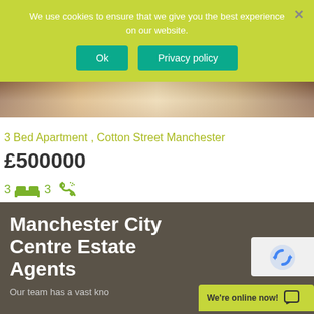We use cookies to ensure that we give you the best experience on our website.
Ok
Privacy policy
[Figure (photo): Interior photo showing wooden flooring with light coming through]
3 Bed Apartment , Cotton Street Manchester
£500000
3  3
Manchester City Centre Estate Agents
Our team has a vast kno
We're online now!